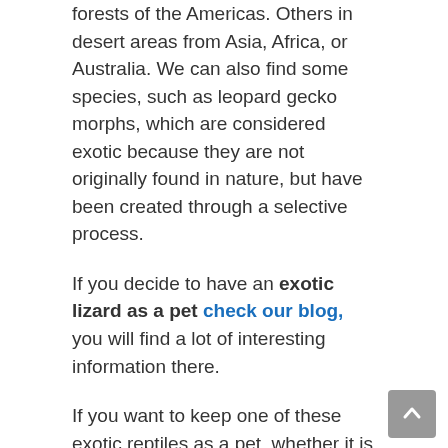forests of the Americas. Others in desert areas from Asia, Africa, or Australia. We can also find some species, such as leopard gecko morphs, which are considered exotic because they are not originally found in nature, but have been created through a selective process.
If you decide to have an exotic lizard as a pet check our blog, you will find a lot of interesting information there.
If you want to keep one of these exotic reptiles as a pet, whether it is a small gecko or a large green iguana, you should first find out if its possession is legal and what papers are necessary to keep it in order and not contribute to the trafficking of exotic animals, some of which are in danger of extinction. Therefore, it is a good idea to go to a shop, so that